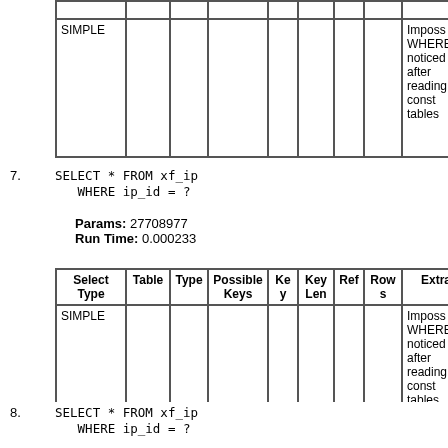| Select Type | Table | Type | Possible Keys | Key | Key Len | Ref | Rows | Extra |
| --- | --- | --- | --- | --- | --- | --- | --- | --- |
| SIMPLE |  |  |  |  |  |  |  | Imposs WHERE noticed after reading const tables |
7. SELECT * FROM xf_ip
   WHERE ip_id = ?
Params: 27708977
Run Time: 0.000233
| Select Type | Table | Type | Possible Keys | Key | Key Len | Ref | Rows | Extra |
| --- | --- | --- | --- | --- | --- | --- | --- | --- |
| SIMPLE |  |  |  |  |  |  |  | Imposs WHERE noticed after reading const tables |
8. SELECT * FROM xf_ip
   WHERE ip_id = ?